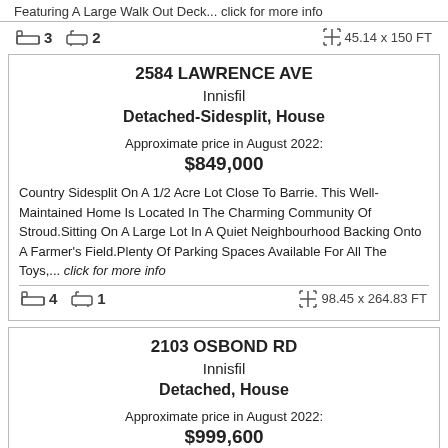Featuring A Large Walk Out Deck... click for more info
3 bedrooms, 2 bathrooms, 45.14 x 150 FT
2584 LAWRENCE AVE
Innisfil
Detached-Sidesplit, House
Approximate price in August 2022: $849,000
Country Sidesplit On A 1/2 Acre Lot Close To Barrie. This Well-Maintained Home Is Located In The Charming Community Of Stroud.Sitting On A Large Lot In A Quiet Neighbourhood Backing Onto A Farmer's Field.Plenty Of Parking Spaces Available For All The Toys,... click for more info
4 bedrooms, 1 bathroom, 98.45 x 264.83 FT
2103 OSBOND RD
Innisfil
Detached, House
Approximate price in August 2022: $999,600
Welcome To 2103 Osbond Rd. This Beautiful Detached Home Features. Dark Hardwood/Laminate Floors, Custom Trims, Freshly Painted, Open Layout, Custom Deck, Large Driveway, Cathedral Ceiling, 2nd Floor Loft, 2 Kitchens, Finish Basement With In-Law... click for more info